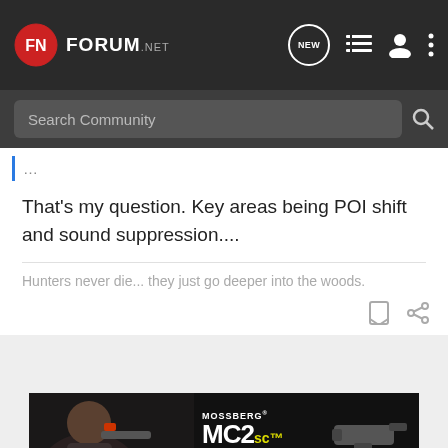[Figure (screenshot): Forum.net website navigation bar with logo, NEW button, list icon, user icon, and more options icon]
[Figure (screenshot): Search Community search bar with magnifying glass icon]
That's my question. Key areas being POI shift and sound suppression....
Hunters never die... they just go deeper into the woods.
[Figure (screenshot): Mossberg MC2sc All-New Micro-Compact advertisement banner with firearm image and Learn More button]